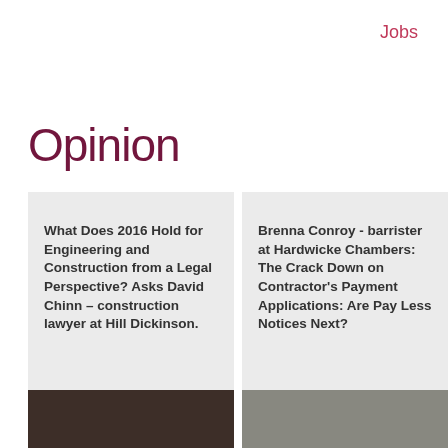Jobs
Opinion
What Does 2016 Hold for Engineering and Construction from a Legal Perspective? Asks David Chinn – construction lawyer at Hill Dickinson.
Brenna Conroy - barrister at Hardwicke Chambers: The Crack Down on Contractor's Payment Applications: Are Pay Less Notices Next?
[Figure (photo): Portrait photo of a person (left card author)]
[Figure (photo): Portrait photo of Brenna Conroy (right card author)]